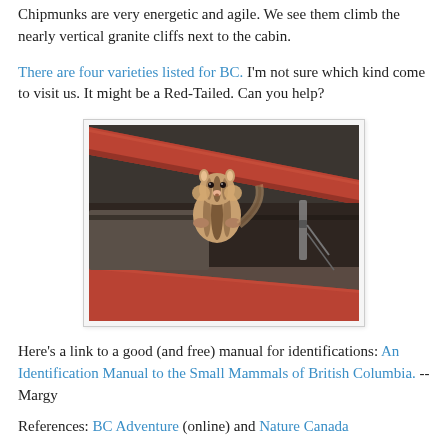Chipmunks are very energetic and agile. We see them climb the nearly vertical granite cliffs next to the cabin.
There are four varieties listed for BC. I'm not sure which kind come to visit us. It might be a Red-Tailed. Can you help?
[Figure (photo): A chipmunk sitting on a red log/beam, with another log below and background of stone and grey materials.]
Here's a link to a good (and free) manual for identifications: An Identification Manual to the Small Mammals of British Columbia. -- Margy
References: BC Adventure (online) and Nature Canada